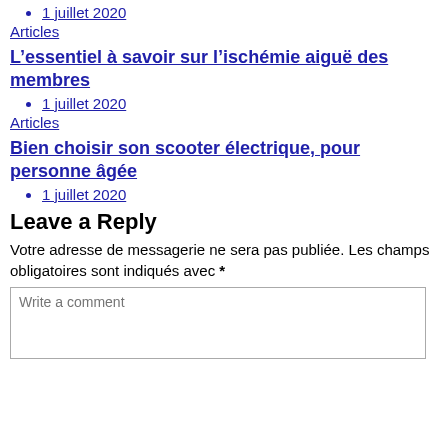1 juillet 2020
Articles
L'essentiel à savoir sur l'ischémie aiguë des membres
1 juillet 2020
Articles
Bien choisir son scooter électrique, pour personne âgée
1 juillet 2020
Leave a Reply
Votre adresse de messagerie ne sera pas publiée. Les champs obligatoires sont indiqués avec *
Write a comment